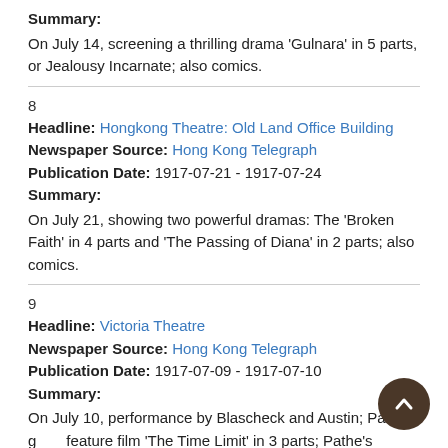Summary:
On July 14, screening a thrilling drama 'Gulnara' in 5 parts, or Jealousy Incarnate; also comics.
8
Headline: Hongkong Theatre: Old Land Office Building
Newspaper Source: Hong Kong Telegraph
Publication Date: 1917-07-21 - 1917-07-24
Summary:
On July 21, showing two powerful dramas: The 'Broken Faith' in 4 parts and 'The Passing of Diana' in 2 parts; also comics.
9
Headline: Victoria Theatre
Newspaper Source: Hong Kong Telegraph
Publication Date: 1917-07-09 - 1917-07-10
Summary:
On July 10, performance by Blascheck and Austin; Pathe's great feature film 'The Time Limit' in 3 parts; Pathe's Gazette and war comics; on July 18, military band concert.